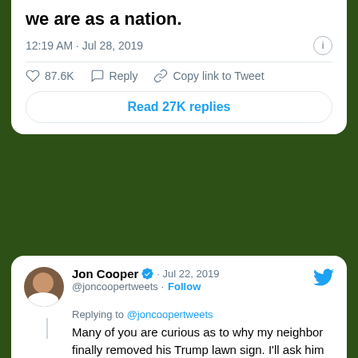we are as a nation.
12:19 AM · Jul 28, 2019
87.6K   Reply   Copy link to Tweet
Read 27K replies
[Figure (screenshot): Tweet from Jon Cooper (@joncoopertweets) dated Jul 22, 2019 with verified badge. Replying to @joncoopertweets. Text: Many of you are curious as to why my neighbor finally removed his Trump lawn sign. I'll ask him over the next few days and will be sure to post his reply. 👍]
[Figure (screenshot): Second tweet header: Jon Cooper verified @joncoopertweets · Follow]
I just asked my neighbor why he removed the Trump sign from his lawn